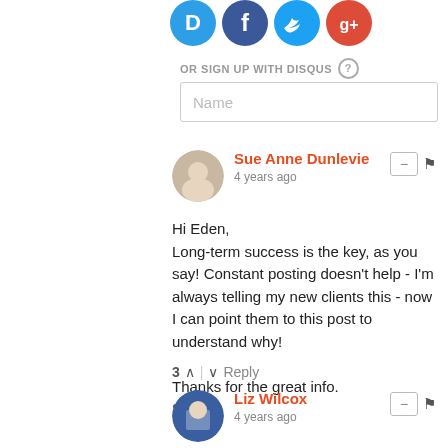[Figure (illustration): Four social media icon circles: Disqus (blue D), Facebook (dark blue f), Twitter (light blue bird), Google+ (red g+) shown at top]
OR SIGN UP WITH DISQUS ?
Name
Sue Anne Dunlevie
4 years ago
Hi Eden,
Long-term success is the key, as you say! Constant posting doesn't help - I'm always telling my new clients this - now I can point them to this post to understand why!

Thanks for the great info.
Sue
3 ^ | v Reply
Liz Wilcox
4 years ago
Oh Eden, how I love you! I rarely ever publish a blog post! Once I got about 50 on